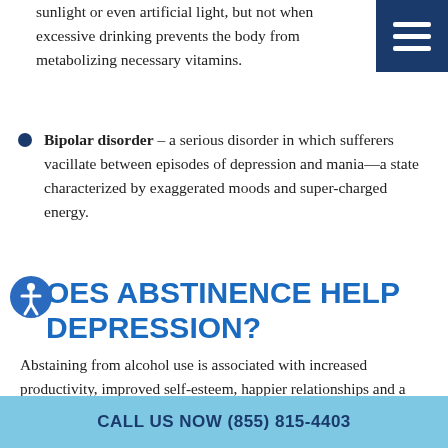sunlight or even artificial light, but not when excessive drinking prevents the body from metabolizing necessary vitamins.
[Figure (other): Dark blue hamburger menu button with three horizontal white lines]
Bipolar disorder – a serious disorder in which sufferers vacillate between episodes of depression and mania—a state characterized by exaggerated moods and super-charged energy.
[Figure (other): Accessibility icon: white figure in a blue circle]
DOES ABSTINENCE HELP DEPRESSION?
Abstaining from alcohol use is associated with increased productivity, improved self-esteem, happier relationships and a heathier, functional lifestyle— all of which help alleviate depression. Beyond these outwardly obvious benefits, abstinence allows the body a chance to
CALL US NOW (855) 815-4403